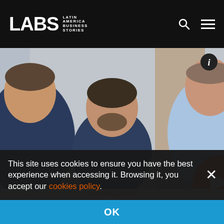LABS Latin America Business Stories
[Figure (photo): Three men smiling, posed in front of a grey concrete wall with a wooden panel. The man on the left wears a dark navy sweater, the man in the center wears a dark navy shirt, and the man on the right wears a light blue dress shirt. An orange ball/logo is partially visible on the right edge.]
TECHNOLOGY
Who's going to join Brazil's billionaires club?
This site uses cookies to ensure you have the best experience when accessing it. Browsing it, you accept our cookies policy.
OK